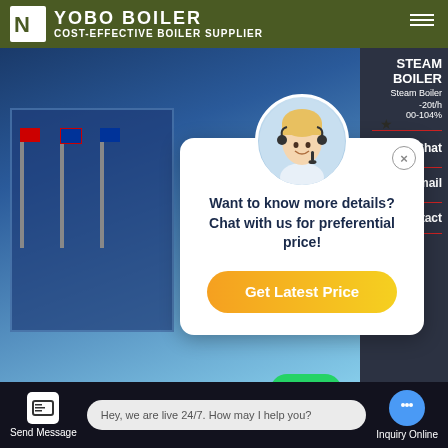YOBO BOILER — COST-EFFECTIVE BOILER SUPPLIER
[Figure (screenshot): Website screenshot showing a chat popup overlay on a boiler supplier page. Popup reads: 'Want to know more details? Chat with us for preferential price!' with a 'Get Latest Price' button. Background shows a building with flags and dark blue overlay. Right sidebar shows Chat, Email, Contact actions. Lower section shows 'Seller Boiler Pl...' heading with WhatsApp contact buttons.]
Want to know more details? Chat with us for preferential price!
Get Latest Price
STEAM BOILER
Steam Boiler
-20t/h
00-104%
Chat
Email
Contact
Seller Boiler Pl...
Contact us now!
Contact us now!
Hey, we are live 24/7. How may I help you?
Send Message
Inquiry Online